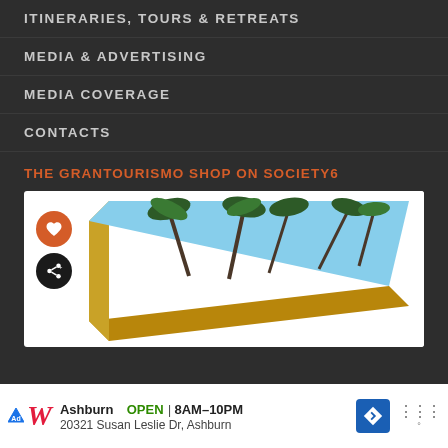ITINERARIES, TOURS & RETREATS
MEDIA & ADVERTISING
MEDIA COVERAGE
CONTACTS
THE GRANTOURISMO SHOP ON SOCIETY6
[Figure (photo): Product image showing a flat item (appears to be a card or book) with tropical palm tree design on a blue sky background, with orange/gold edges. Orange heart button and dark share button visible on left side.]
Ashburn OPEN 8AM–10PM 20321 Susan Leslie Dr, Ashburn